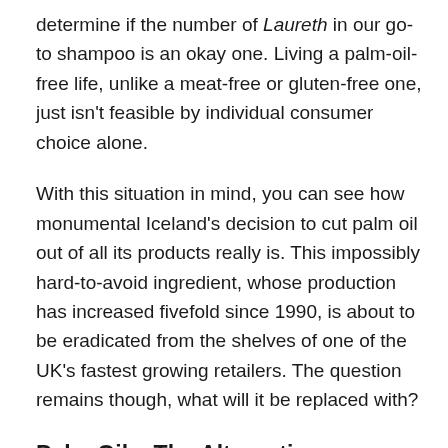determine if the number of Laureth in our go-to shampoo is an okay one. Living a palm-oil-free life, unlike a meat-free or gluten-free one, just isn't feasible by individual consumer choice alone.
With this situation in mind, you can see how monumental Iceland's decision to cut palm oil out of all its products really is. This impossibly hard-to-avoid ingredient, whose production has increased fivefold since 1990, is about to be eradicated from the shelves of one of the UK's fastest growing retailers. The question remains though, what will it be replaced with?
Palm Oil – The Alternatives
There's no denying the extremely destructive impact that